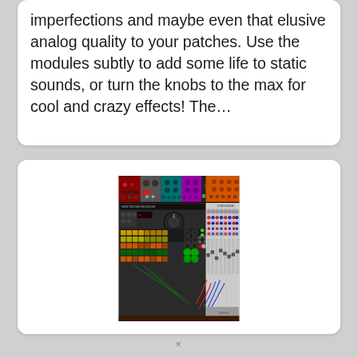imperfections and maybe even that elusive analog quality to your patches. Use the modules subtly to add some life to static sounds, or turn the knobs to the max for cool and crazy effects! The…
[Figure (screenshot): Screenshot of a modular synthesizer software interface showing drum machine sequencer on the left with colorful step buttons in rows, a large central knob, and a console/mixer section on the right with multiple channels, faders, and patch cables visible.]